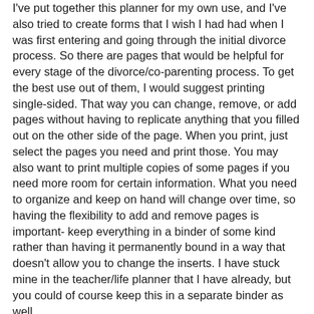I've put together this planner for my own use, and I've also tried to create forms that I wish I had had when I was first entering and going through the initial divorce process. So there are pages that would be helpful for every stage of the divorce/co-parenting process. To get the best use out of them, I would suggest printing single-sided. That way you can change, remove, or add pages without having to replicate anything that you filled out on the other side of the page. When you print, just select the pages you need and print those. You may also want to print multiple copies of some pages if you need more room for certain information. What you need to organize and keep on hand will change over time, so having the flexibility to add and remove pages is important- keep everything in a binder of some kind rather than having it permanently bound in a way that doesn't allow you to change the inserts. I have stuck mine in the teacher/life planner that I have already, but you could of course keep this in a separate binder as well.
Here's an overview of what's included:
1. Custody schedule: year at a glance (good for mapping out alternating weekends, holidays etc)